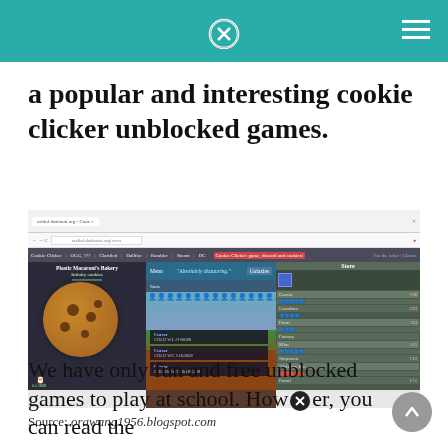a popular and interesting cookie clicker unblocked games.
[Figure (screenshot): Screenshot of Cookie Clicker browser game showing the game interface with a cookie on the left, game world in the center, and the Store panel on the right with items: Cursor 70$, Grandma 199, Farm 61, Factory, Mine 115, Shipment 133, Alchemy lab, Portal 17x]
Source: orawang1956.blogspot.com
We have only fun and free unblocked games to play at school. However, you can read the